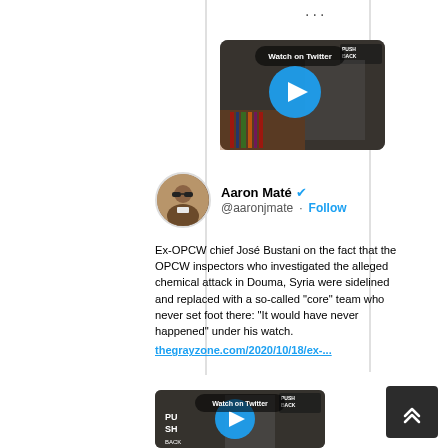...
[Figure (screenshot): Video thumbnail showing a man in a suit with PUSH BACK logo and a blue play button circle with 'Watch on Twitter' overlay]
Aaron Maté @aaronjmate · Follow
Ex-OPCW chief José Bustani on the fact that the OPCW inspectors who investigated the alleged chemical attack in Douma, Syria were sidelined and replaced with a so-called "core" team who never set foot there: "It would have never happened" under his watch.
thegrayzone.com/2020/10/18/ex-...
[Figure (screenshot): Second video thumbnail showing a man with PUSH BACK logo and a blue play button circle with 'Watch on Twitter' overlay]